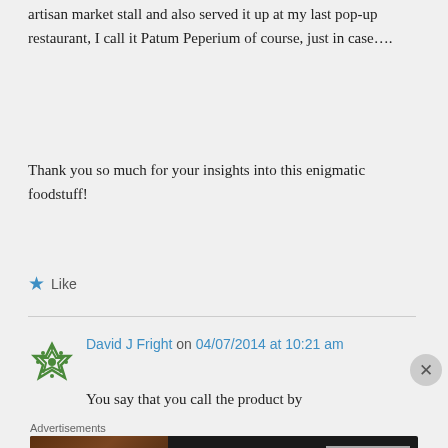artisan market stall and also served it up at my last pop-up restaurant, I call it Patum Peperium of course, just in case….
Thank you so much for your insights into this enigmatic foodstuff!
Like
David J Fright on 04/07/2014 at 10:21 am
You say that you call the product by
Advertisements
[Figure (other): Seamless food delivery advertisement banner with pizza image, seamless logo, and ORDER NOW button]